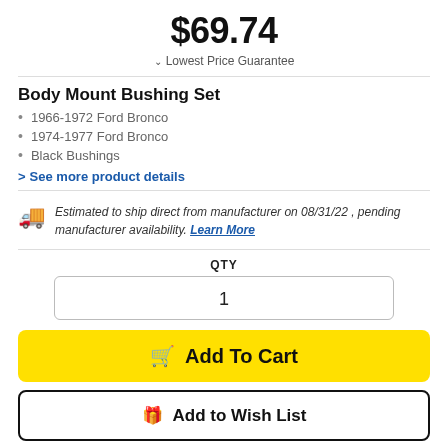$69.74
Lowest Price Guarantee
Body Mount Bushing Set
1966-1972 Ford Bronco
1974-1977 Ford Bronco
Black Bushings
See more product details
Estimated to ship direct from manufacturer on 08/31/22 , pending manufacturer availability. Learn More
QTY
1
Add To Cart
Add to Wish List